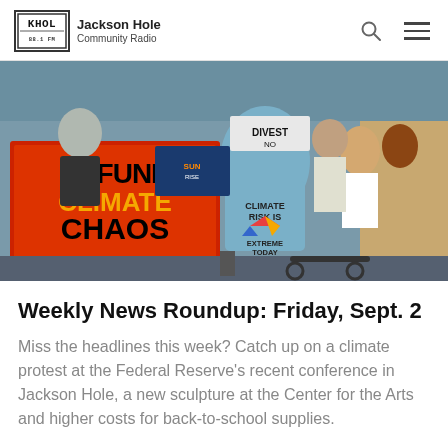KHOL Jackson Hole Community Radio
[Figure (photo): Crowd at a climate protest holding signs including 'Defund Climate Chaos' and a man wearing a shirt reading 'Climate Risk Is Extreme Today']
Weekly News Roundup: Friday, Sept. 2
Miss the headlines this week? Catch up on a climate protest at the Federal Reserve's recent conference in Jackson Hole, a new sculpture at the Center for the Arts and higher costs for back-to-school supplies.